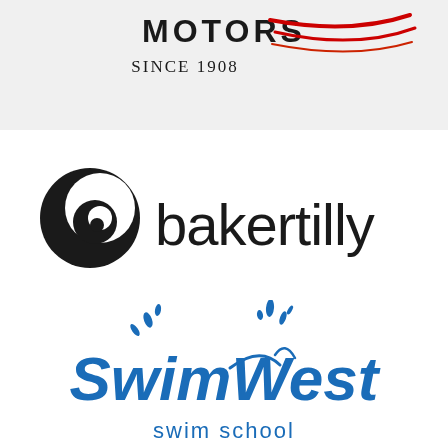[Figure (logo): Motors Since 1908 logo with red swoosh on gray background]
[Figure (logo): Baker Tilly logo with circular concentric arc icon in black]
[Figure (logo): SwimWest Swim School logo in blue with splash water effect]